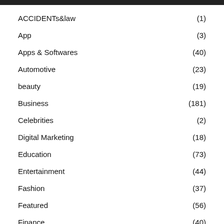ACCIDENTs&law (1)
App (3)
Apps & Softwares (40)
Automotive (23)
beauty (19)
Business (181)
Celebrities (2)
Digital Marketing (18)
Education (73)
Entertainment (44)
Fashion (37)
Featured (56)
Finance (40)